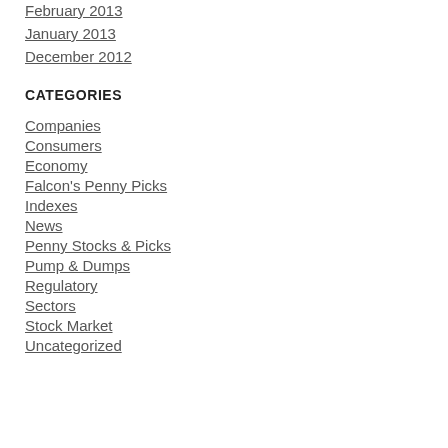February 2013
January 2013
December 2012
CATEGORIES
Companies
Consumers
Economy
Falcon's Penny Picks
Indexes
News
Penny Stocks & Picks
Pump & Dumps
Regulatory
Sectors
Stock Market
Uncategorized